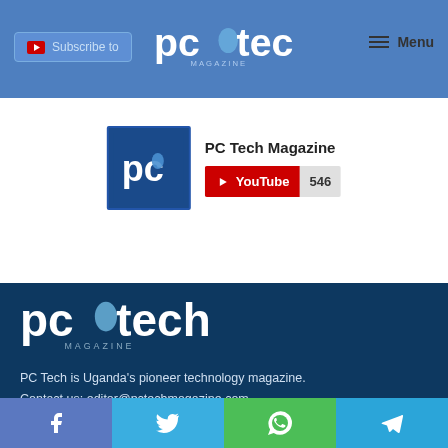[Figure (screenshot): PC Tech Magazine website header with blue navigation bar showing Subscribe button, PC Tech Magazine logo, and Menu icon]
[Figure (screenshot): YouTube subscribe widget showing PC Tech Magazine channel with red YouTube subscribe button showing 546 subscribers]
[Figure (logo): PC Tech Magazine logo in white on dark blue background]
PC Tech is Uganda's pioneer technology magazine.
Contact us: editor@pctechmagazine.com
[Figure (screenshot): Social media share bar at bottom with Facebook, Twitter, WhatsApp, and Telegram buttons]